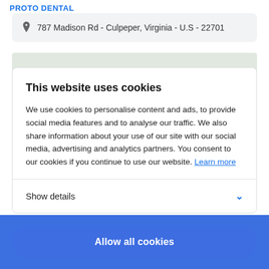PROTO DENTAL
787 Madison Rd - Culpeper, Virginia - U.S - 22701
This website uses cookies
We use cookies to personalise content and ads, to provide social media features and to analyse our traffic. We also share information about your use of our site with our social media, advertising and analytics partners. You consent to our cookies if you continue to use our website. Learn more
Show details
Allow all cookies